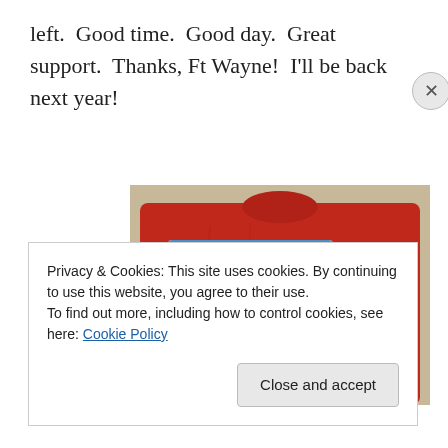left.  Good time.  Good day.  Great support.  Thanks, Ft Wayne!  I'll be back next year!
[Figure (photo): A red t-shirt with a race bib number 777 placed on top of it. The bib shows the number 777 prominently and has a cycling gear design.]
Privacy & Cookies: This site uses cookies. By continuing to use this website, you agree to their use.
To find out more, including how to control cookies, see here: Cookie Policy